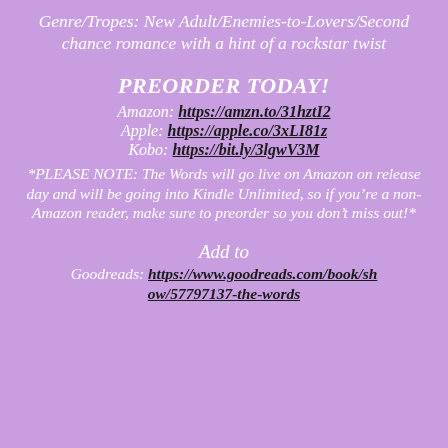Genre/Tropes: New Adult/Enemies-to-Lovers/Second chance romance with a hint of a rockstar twist
PREORDER TODAY!
Amazon: https://amzn.to/31hztI2
Apple: https://apple.co/3xLI81z
Kobo: https://bit.ly/3lgwV3M
*PLEASE NOTE: The Words will go live on Amazon on release day and will be going into Kindle Unlimited, so if you're a non-Amazon reader, make sure to preorder so you don't miss out!*
Add to Goodreads: https://www.goodreads.com/book/show/57797137-the-words